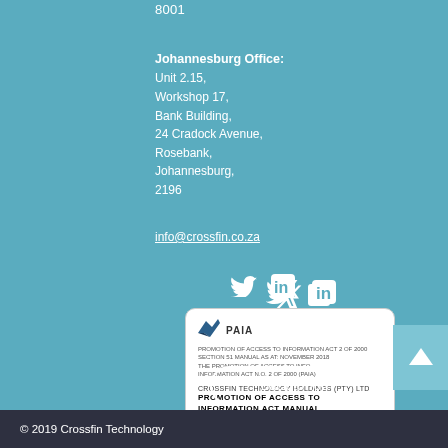8001
Johannesburg Office:
Unit 2.15,
Workshop 17,
Bank Building,
24 Cradock Avenue,
Rosebank,
Johannesburg,
2196
info@crossfin.co.za
[Figure (illustration): Twitter and LinkedIn social media icons in white]
[Figure (illustration): PAIA card with bird logo and PAIA text, showing Crossfin Technology Holdings (PTY) Ltd Promotion of Access to Information Act Manual]
Back to Top
© 2019 Crossfin Technology